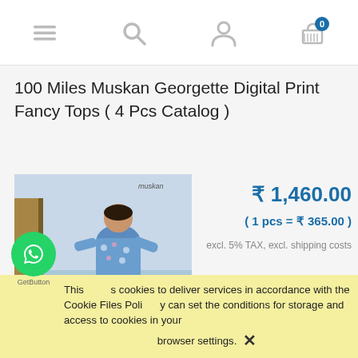[Figure (screenshot): Mobile e-commerce website navigation bar with hamburger menu, search icon, user icon, and shopping cart icon with badge showing 0]
100 Miles Muskan Georgette Digital Print Fancy Tops ( 4 Pcs Catalog )
[Figure (photo): Product photo of a woman wearing a blue floral georgette top with dark pants, standing on a wooden deck near water. Brand label 'muskan' visible.]
₹ 1,460.00
( 1 pcs = ₹ 365.00 )
excl. 5% TAX, excl. shipping costs
This uses cookies to deliver services in accordance with the Cookie Files Policy. You can set the conditions for storage and access to cookies in your browser settings. ✕
[Figure (logo): WhatsApp green circle button icon and GetButton label]